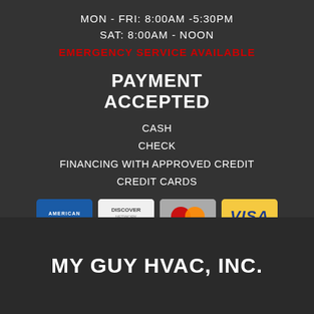MON - FRI: 8:00AM -5:30PM
SAT: 8:00AM - NOON
EMERGENCY SERVICE AVAILABLE
PAYMENT ACCEPTED
CASH
CHECK
FINANCING WITH APPROVED CREDIT
CREDIT CARDS
[Figure (logo): Credit card logos: American Express, Discover, MasterCard, Visa]
MY GUY HVAC, INC.